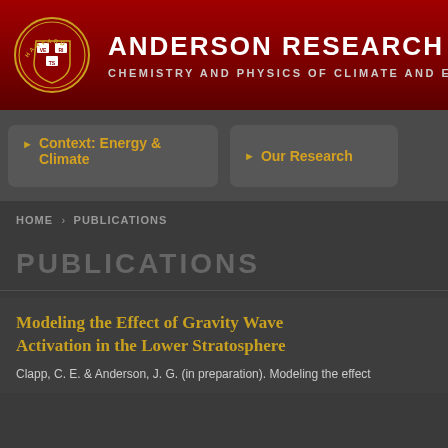ANDERSON RESEARCH G
CHEMISTRY AND PHYSICS OF CLIMATE AND EARTH
Context: Energy & Climate
Our Research
HOME › PUBLICATIONS
PUBLICATIONS
Modeling the Effect of Gravity Wave Activation in the Lower Stratosphere
Clapp, C. E. & Anderson, J. G. (in preparation). Modeling the effect...